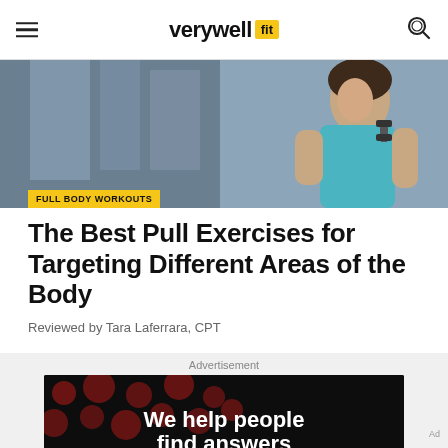verywell fit
[Figure (photo): A woman in a teal tank top holding a dumbbell in a gym setting]
FULL BODY WORKOUTS
The Best Pull Exercises for Targeting Different Areas of the Body
Reviewed by Tara Laferrara, CPT
Advertisement
[Figure (screenshot): Advertisement banner: 'We help people find answers' with Dotdash Meredith branding on dark background with red dots]